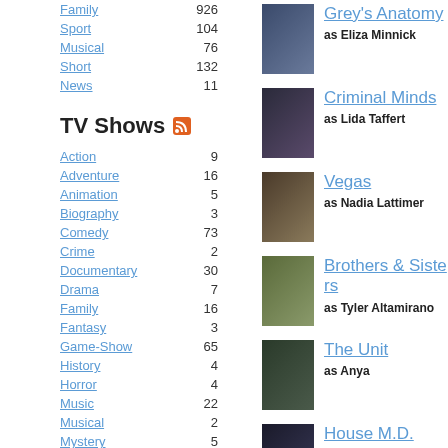Family 926
Sport 104
Musical 76
Short 132
News 11
TV Shows
Action 9
Adventure 16
Animation 5
Biography 3
Comedy 73
Crime 2
Documentary 30
Drama 7
Family 16
Fantasy 3
Game-Show 65
History 4
Horror 4
Music 22
Musical 2
Mystery 5
Grey's Anatomy as Eliza Minnick
Criminal Minds as Lida Taffert
Vegas as Nadia Lattimer
Brothers & Sisters as Tyler Altamirano
The Unit as Anya
House M.D. as Heather
Las Vegas as Marisa Rodriguez